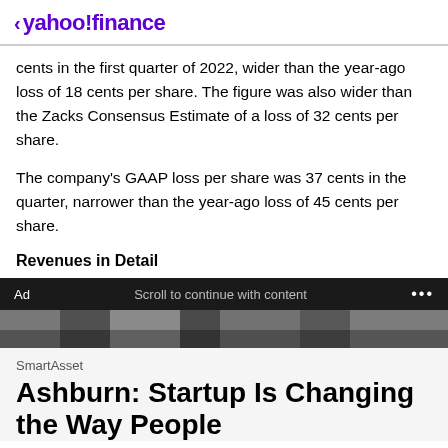< yahoo!finance
cents in the first quarter of 2022, wider than the year-ago loss of 18 cents per share. The figure was also wider than the Zacks Consensus Estimate of a loss of 32 cents per share.
The company's GAAP loss per share was 37 cents in the quarter, narrower than the year-ago loss of 45 cents per share.
Revenues in Detail
[Figure (photo): Advertisement banner image showing dark figures/people in background]
SmartAsset
Ashburn: Startup Is Changing the Way People